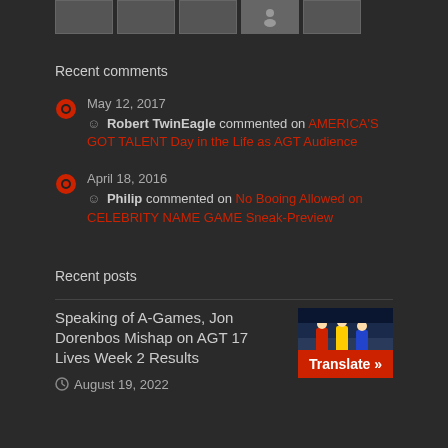[Figure (screenshot): Row of 5 small thumbnail images at top of page]
Recent comments
May 12, 2017 — Robert TwinEagle commented on AMERICA'S GOT TALENT Day in the Life as AGT Audience
April 18, 2016 — Philip commented on No Booing Allowed on CELEBRITY NAME GAME Sneak-Preview
Recent posts
Speaking of A-Games, Jon Dorenbos Mishap on AGT 17 Lives Week 2 Results
August 19, 2022